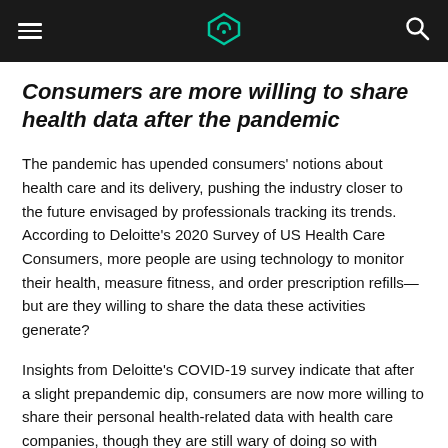≡  [logo]  🔍
Consumers are more willing to share health data after the pandemic
The pandemic has upended consumers' notions about health care and its delivery, pushing the industry closer to the future envisaged by professionals tracking its trends. According to Deloitte's 2020 Survey of US Health Care Consumers, more people are using technology to monitor their health, measure fitness, and order prescription refills—but are they willing to share the data these activities generate?
Insights from Deloitte's COVID-19 survey indicate that after a slight prepandemic dip, consumers are now more willing to share their personal health-related data with health care companies, though they are still wary of doing so with